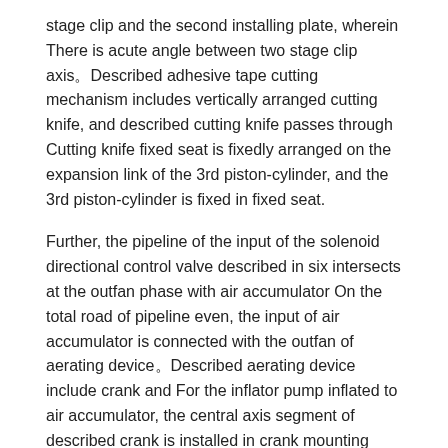stage clip and the second installing plate, wherein There is acute angle between two stage clip axis。Described adhesive tape cutting mechanism includes vertically arranged cutting knife, and described cutting knife passes through Cutting knife fixed seat is fixedly arranged on the expansion link of the 3rd piston-cylinder, and the 3rd piston-cylinder is fixed in fixed seat.
Further, the pipeline of the input of the solenoid directional control valve described in six intersects at the outfan phase with air accumulator On the total road of pipeline even, the input of air accumulator is connected with the outfan of aerating device。Described aerating device include crank and For the inflator pump inflated to air accumulator, the central axis segment of described crank is installed in crank mounting seat, the central shaft of crank One end of section is connected with belt pulley, and belt pulley is connected by belt with the output shaft of motor, and motor is fixedly arranged in crank mounting seat Surface。The other end of the central axis segment of described crank is connected with the gearratio of cycloid axle formation of crank, the gearratio of cycloid axle formation and inflator pump of crank Inflating rod